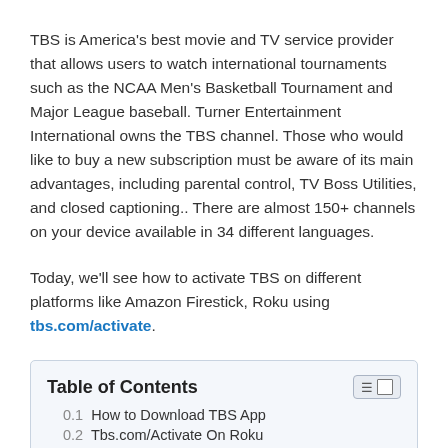TBS is America's best movie and TV service provider that allows users to watch international tournaments such as the NCAA Men's Basketball Tournament and Major League baseball. Turner Entertainment International owns the TBS channel. Those who would like to buy a new subscription must be aware of its main advantages, including parental control, TV Boss Utilities, and closed captioning.. There are almost 150+ channels on your device available in 34 different languages.
Today, we'll see how to activate TBS on different platforms like Amazon Firestick, Roku using tbs.com/activate.
| Table of Contents |
| --- |
| 0.1 How to Download TBS App |
| 0.2 Tbs.com/Activate On Roku |